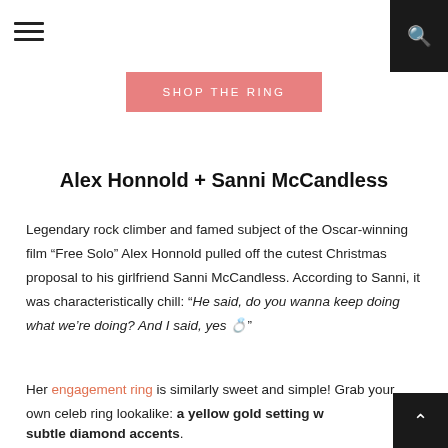SHOP THE RING
Alex Honnold + Sanni McCandless
Legendary rock climber and famed subject of the Oscar-winning film “Free Solo” Alex Honnold pulled off the cutest Christmas proposal to his girlfriend Sanni McCandless. According to Sanni, it was characteristically chill: “He said, do you wanna keep doing what we’re doing? And I said, yes 💍” Her engagement ring is similarly sweet and simple! Grab your own celeb ring lookalike: a yellow gold setting with subtle diamond accents.